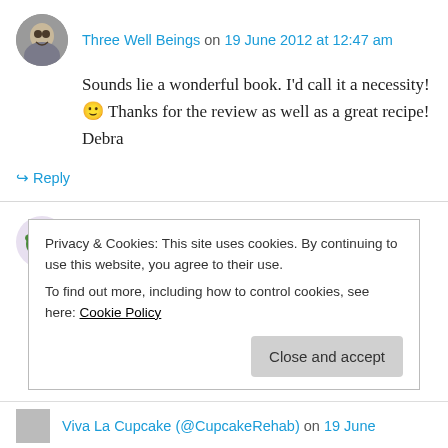Three Well Beings on 19 June 2012 at 12:47 am
Sounds lie a wonderful book. I'd call it a necessity! 🙂 Thanks for the review as well as a great recipe! Debra
↪ Reply
Jamie on 19 June 2012 at 1:38 am
I would try canning beets. I'm growing my first
Privacy & Cookies: This site uses cookies. By continuing to use this website, you agree to their use.
To find out more, including how to control cookies, see here: Cookie Policy
Close and accept
Viva La Cupcake (@CupcakeRehab) on 19 June